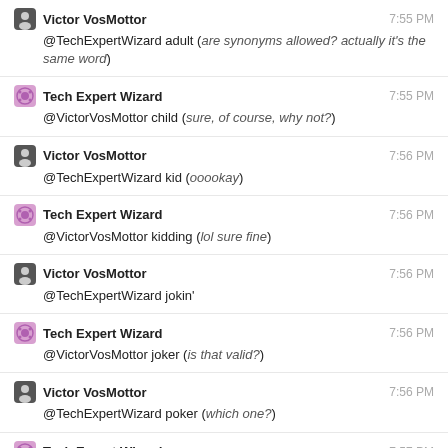Victor VosMottor 7:55 PM — @TechExpertWizard adult (are synonyms allowed? actually it's the same word)
Tech Expert Wizard 7:55 PM — @VictorVosMottor child (sure, of course, why not?)
Victor VosMottor 7:56 PM — @TechExpertWizard kid (ooookay)
Tech Expert Wizard 7:56 PM — @VictorVosMottor kidding (lol sure fine)
Victor VosMottor 7:56 PM — @TechExpertWizard jokin'
Tech Expert Wizard 7:56 PM — @VictorVosMottor joker (is that valid?)
Victor VosMottor 7:56 PM — @TechExpertWizard poker (which one?)
Tech Expert Wizard 7:57 PM — @VictorVosMottor poke (are apostrophes valid?)
Victor VosMottor 7:57 PM